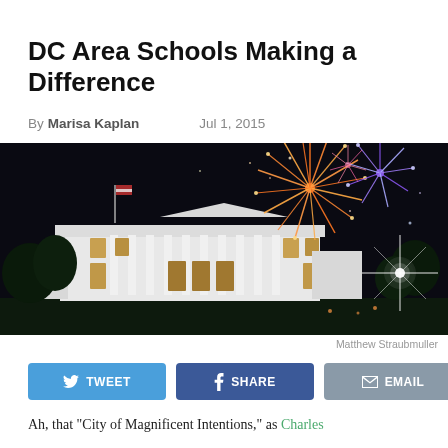DC Area Schools Making a Difference
By Marisa Kaplan   Jul 1, 2015
[Figure (photo): Night photo of the White House with fireworks in the sky above and around it. The fireworks are orange, red, and blue against a dark night sky. A bright star-shaped light flare is visible on the right side of the image.]
Matthew Straubmuller
TWEET   SHARE   EMAIL
Ah, that "City of Magnificent Intentions," as Charles